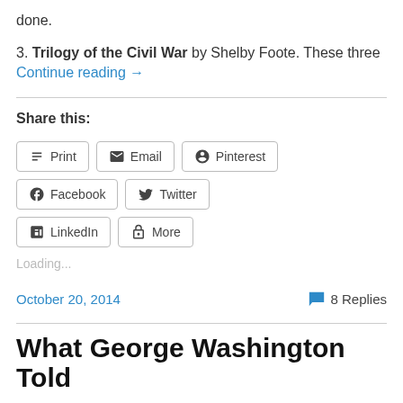done.
3. Trilogy of the Civil War by Shelby Foote. These three
Continue reading →
Share this:
Print | Email | Pinterest | Facebook | Twitter | LinkedIn | More
Loading...
October 20, 2014
8 Replies
What George Washington Told